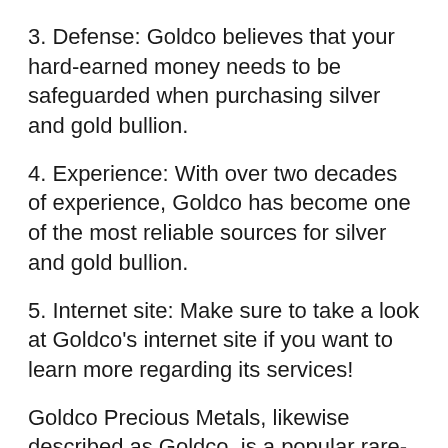3. Defense: Goldco believes that your hard-earned money needs to be safeguarded when purchasing silver and gold bullion.
4. Experience: With over two decades of experience, Goldco has become one of the most reliable sources for silver and gold bullion.
5. Internet site: Make sure to take a look at Goldco’s internet site if you want to learn more regarding its services!
Goldco Precious Metals, likewise described as Goldco, is a popular rare-earth elements firm based in Woodland Hills, California. Considering that its inception in 2006, the